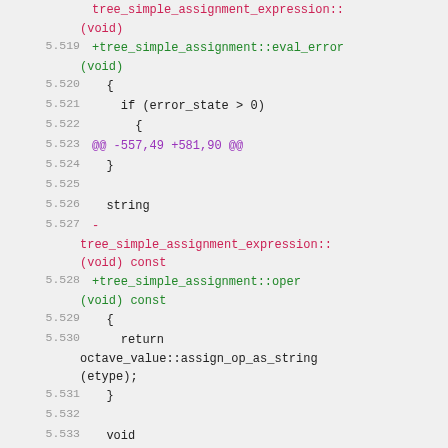Code diff view showing lines 5.519 through 5.536 of a C++ source file with additions and deletions related to tree_simple_assignment_expression and tree_simple_assignment classes.